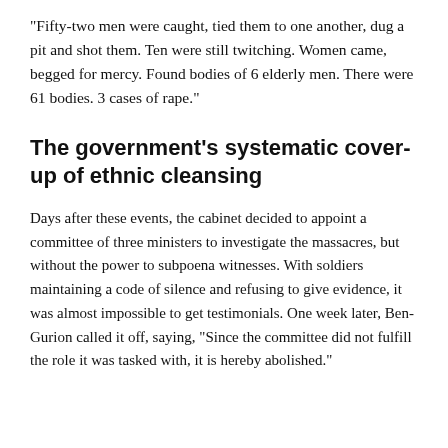“Fifty-two men were caught, tied them to one another, dug a pit and shot them. Ten were still twitching. Women came, begged for mercy. Found bodies of 6 elderly men. There were 61 bodies. 3 cases of rape.”
The government’s systematic cover-up of ethnic cleansing
Days after these events, the cabinet decided to appoint a committee of three ministers to investigate the massacres, but without the power to subpoena witnesses. With soldiers maintaining a code of silence and refusing to give evidence, it was almost impossible to get testimonials. One week later, Ben-Gurion called it off, saying, “Since the committee did not fulfill the role it was tasked with, it is hereby abolished.”